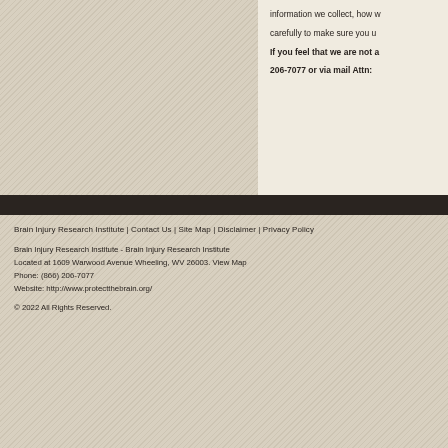information we collect, how we carefully to make sure you u
If you feel that we are not a 206-7077 or via mail Attn:
Brain Injury Research Institute | Contact Us | Site Map | Disclaimer | Privacy Policy
Brain Injury Research Institute - Brain Injury Research Institute
Located at 1609 Warwood Avenue Wheeling, WV 26003. View Map
Phone: (866) 206-7077
Website: http://www.protectthebrain.org/
© 2022 All Rights Reserved.